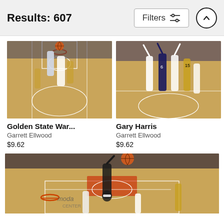Results: 607
[Figure (screenshot): Basketball action photo - Golden State Warriors game, aerial view of player jumping near hoop with crowd in background]
Golden State War...
Garrett Ellwood
$9.62
[Figure (screenshot): Basketball action photo - Gary Harris among players with arms raised near basket in arena]
Gary Harris
Garrett Ellwood
$9.62
[Figure (screenshot): Basketball action photo - player dunking ball in arena with Moda Center Portland Trail Blazers logo visible on court]